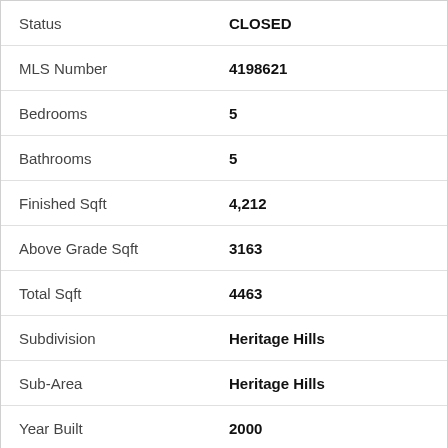| Field | Value |
| --- | --- |
| Status | CLOSED |
| MLS Number | 4198621 |
| Bedrooms | 5 |
| Bathrooms | 5 |
| Finished Sqft | 4,212 |
| Above Grade Sqft | 3163 |
| Total Sqft | 4463 |
| Subdivision | Heritage Hills |
| Sub-Area | Heritage Hills |
| Year Built | 2000 |